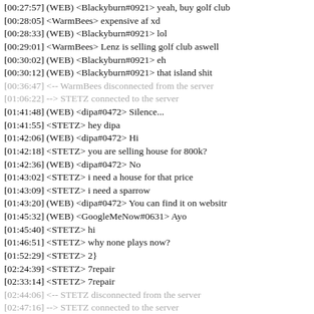[00:27:57] (WEB) <Blackyburn#0921> yeah, buy golf club
[00:28:05] <WarmBees> expensive af xd
[00:28:33] (WEB) <Blackyburn#0921> lol
[00:29:01] <WarmBees> Lenz is selling golf club aswell
[00:30:02] (WEB) <Blackyburn#0921> eh
[00:30:12] (WEB) <Blackyburn#0921> that island shit
[00:36:47] <-- WarmBees disconnected from the server
[01:06:22] --> STETZ connected to the server
[01:41:48] (WEB) <dipa#0472> Silence...
[01:41:55] <STETZ> hey dipa
[01:42:06] (WEB) <dipa#0472> Hi
[01:42:18] <STETZ> you are selling house for 800k?
[01:42:36] (WEB) <dipa#0472> No
[01:43:02] <STETZ> i need a house for that price
[01:43:09] <STETZ> i need a sparrow
[01:43:20] (WEB) <dipa#0472> You can find it on websitr
[01:45:32] (WEB) <GoogleMeNow#0631> Ayo
[01:45:40] <STETZ> hi
[01:46:51] <STETZ> why none plays now?
[01:52:29] <STETZ> 2}
[02:24:39] <STETZ> 7repair
[02:33:14] <STETZ> 7repair
[02:44:06] <-- STETZ disconnected from the server
[02:47:16] --> STETZ connected to the server
[02:56:54] <-- STETZ disconnected from the server
[03:09:22] --> STETZ connected to the server